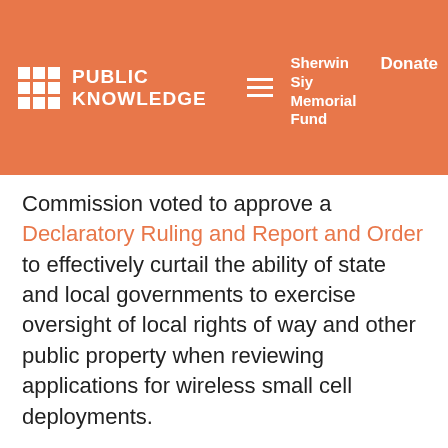PUBLIC KNOWLEDGE | Sherwin Siy Memorial Fund | Donate
Commission voted to approve a Declaratory Ruling and Report and Order to effectively curtail the ability of state and local governments to exercise oversight of local rights of way and other public property when reviewing applications for wireless small cell deployments.
Public Knowledge has long supported commonsense solutions to ease barriers to deployment of advanced